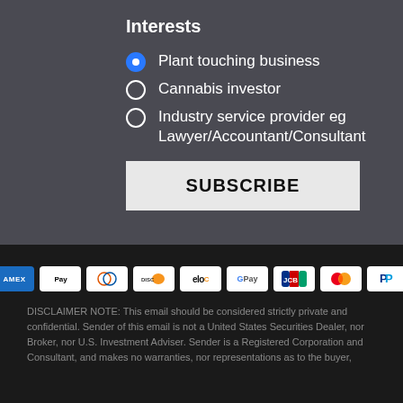Interests
Plant touching business
Cannabis investor
Industry service provider eg Lawyer/Accountant/Consultant
SUBSCRIBE
[Figure (other): Payment method icons: American Express, Apple Pay, Diners Club, Discover, Elo, Google Pay, JCB, Mastercard, PayPal]
DISCLAIMER NOTE: This email should be considered strictly private and confidential. Sender of this email is not a United States Securities Dealer, nor Broker, nor U.S. Investment Adviser. Sender is a Registered Corporation and Consultant, and makes no warranties, nor representations as to the buyer,